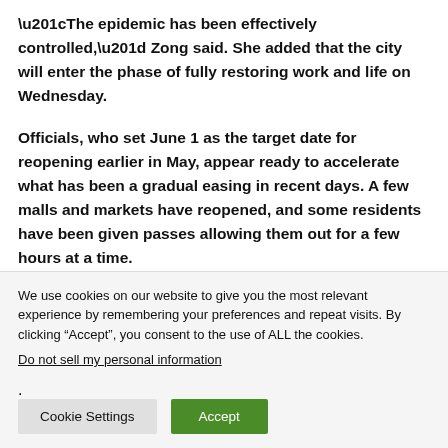“The epidemic has been effectively controlled,” Zong said. She added that the city will enter the phase of fully restoring work and life on Wednesday.
Officials, who set June 1 as the target date for reopening earlier in May, appear ready to accelerate what has been a gradual easing in recent days. A few malls and markets have reopened, and some residents have been given passes allowing them out for a few hours at a time.
We use cookies on our website to give you the most relevant experience by remembering your preferences and repeat visits. By clicking “Accept”, you consent to the use of ALL the cookies.
Do not sell my personal information.